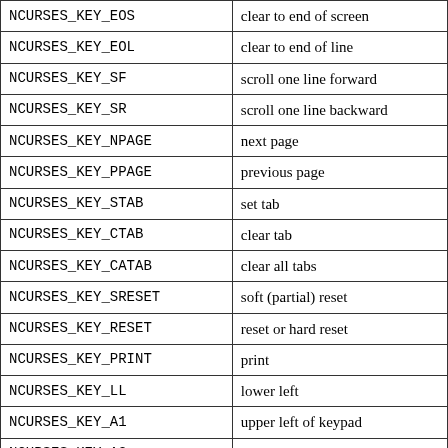| NCURSES_KEY_EOS | clear to end of screen |
| NCURSES_KEY_EOL | clear to end of line |
| NCURSES_KEY_SF | scroll one line forward |
| NCURSES_KEY_SR | scroll one line backward |
| NCURSES_KEY_NPAGE | next page |
| NCURSES_KEY_PPAGE | previous page |
| NCURSES_KEY_STAB | set tab |
| NCURSES_KEY_CTAB | clear tab |
| NCURSES_KEY_CATAB | clear all tabs |
| NCURSES_KEY_SRESET | soft (partial) reset |
| NCURSES_KEY_RESET | reset or hard reset |
| NCURSES_KEY_PRINT | print |
| NCURSES_KEY_LL | lower left |
| NCURSES_KEY_A1 | upper left of keypad |
| NCURSES_KEY_A3 | upper right of keypad |
| NCURSES_KEY_B2 | center of keypad |
| NCURSES_KEY_C1 | lower left of keypad |
| NCURSES_KEY_C3 | lower right of keypad |